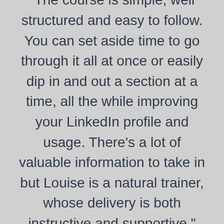"The course is simple, well structured and easy to follow. You can set aside time to go through it all at once or easily dip in and out a section at a time, all the while improving your LinkedIn profile and usage. There's a lot of valuable information to take in but Louise is a natural trainer, whose delivery is both instructive and supportive."